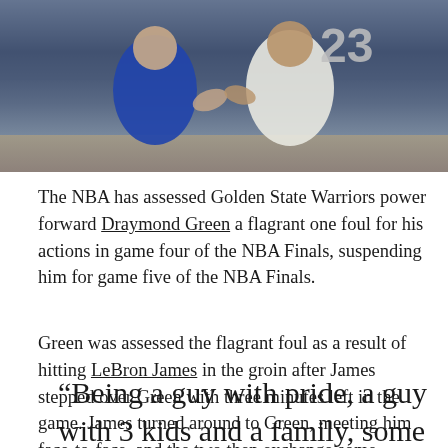[Figure (photo): Two NBA basketball players in contact during a game. One player wearing blue (Golden State Warriors) and another wearing white jersey with number 23 (Cleveland Cavaliers).]
The NBA has assessed Golden State Warriors power forward Draymond Green a flagrant one foul for his actions in game four of the NBA Finals, suspending him for game five of the NBA Finals.
Green was assessed the flagrant foul as a result of hitting LeBron James in the groin after James stepped over Green with three minutes left in the game. James turned around to Green, meeting him face-to-face, and the two then exchange some words.
“Being a guy with pride, a guy with 3 kids and a family, some things just go overboard, and